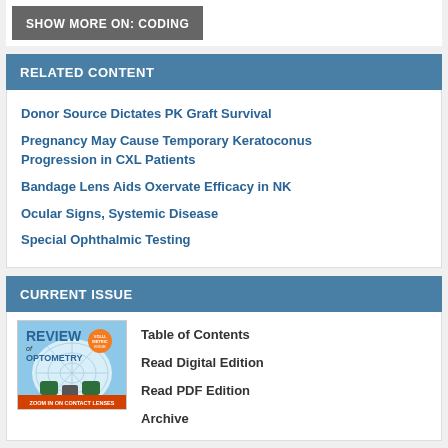SHOW MORE ON: CODING
RELATED CONTENT
Donor Source Dictates PK Graft Survival
Pregnancy May Cause Temporary Keratoconus Progression in CXL Patients
Bandage Lens Aids Oxervate Efficacy in NK
Ocular Signs, Systemic Disease
Special Ophthalmic Testing
CURRENT ISSUE
[Figure (photo): Cover of Review of Optometry magazine showing a radar/contact lens diagram with text 'ZOOM IN ON CONTACT LENSES']
Table of Contents
Read Digital Edition
Read PDF Edition
Archive